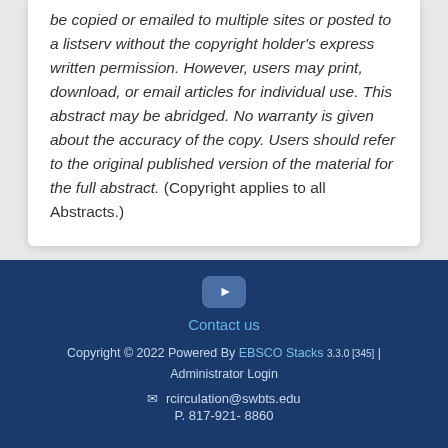be copied or emailed to multiple sites or posted to a listserv without the copyright holder's express written permission. However, users may print, download, or email articles for individual use. This abstract may be abridged. No warranty is given about the accuracy of the copy. Users should refer to the original published version of the material for the full abstract. (Copyright applies to all Abstracts.)
Contact us
Copyright © 2022 Powered By EBSCO Stacks 3.3.0 [345] | Administrator Login
rcirculation@swbts.edu
P. 817-921- 8860